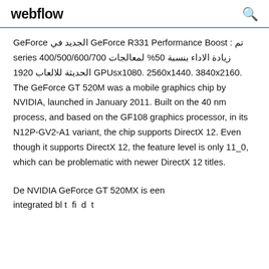webflow
تم : GeForce R331 Performance Boost الجديد في GeForce زيادة الاداء بنسبة 50% لمعالجات 400/500/600/700 series GPUs الحديثة للالعاب 1920x1080. 2560x1440. 3840x2160. The GeForce GT 520M was a mobile graphics chip by NVIDIA, launched in January 2011. Built on the 40 nm process, and based on the GF108 graphics processor, in its N12P-GV2-A1 variant, the chip supports DirectX 12. Even though it supports DirectX 12, the feature level is only 11_0, which can be problematic with newer DirectX 12 titles.
De NVIDIA GeForce GT 520MX is een